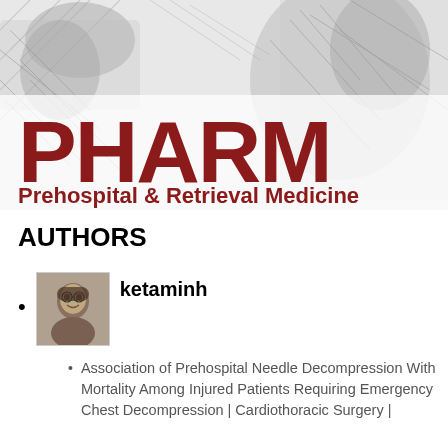[Figure (illustration): PHARM journal header with faded grey sketch background showing medical/emergency scene figures. Large bold dark red text 'PHARM' with subtitle 'Prehospital & Retrieval Medicine' in dark red bold text below.]
AUTHORS
ketaminh
Association of Prehospital Needle Decompression With Mortality Among Injured Patients Requiring Emergency Chest Decompression | Cardiothoracic Surgery |